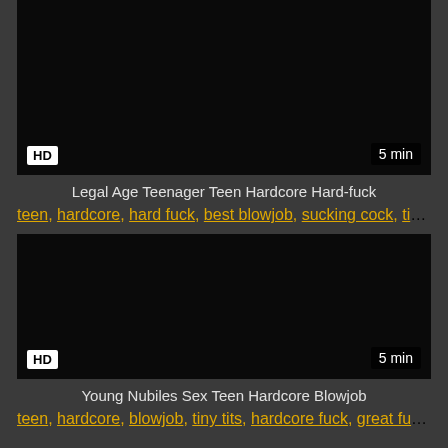[Figure (screenshot): Dark video thumbnail with HD badge bottom-left and 5 min badge bottom-right]
Legal Age Teenager Teen Hardcore Hard-fuck
teen, hardcore, hard fuck, best blowjob, sucking cock, tig...
[Figure (screenshot): Dark video thumbnail with HD badge bottom-left and 5 min badge bottom-right]
Young Nubiles Sex Teen Hardcore Blowjob
teen, hardcore, blowjob, tiny tits, hardcore fuck, great fuc...